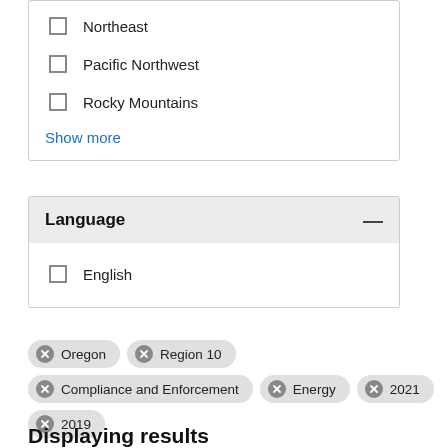Northeast
Pacific Northwest
Rocky Mountains
Show more
Language
English
Oregon  Region 10  Compliance and Enforcement  Energy  2021  2019
Remove all filters
Displaying results